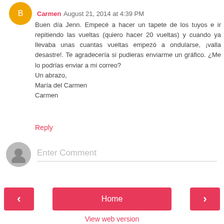Carmen August 21, 2014 at 4:39 PM
Buen día Jenn. Empecé a hacer un tapete de los tuyos e ir repitiendo las vueltas (quiero hacer 20 vueltas) y cuando ya llevaba unas cuantas vueltas empezó a ondularse, ¡valla desastre!. Te agradecería si pudieras enviarme un gráfico. ¿Me lo podrías enviar a mi correo?
Un abrazo,
María del Carmen
Carmen
Reply
Enter Comment
‹
Home
›
View web version
Powered by Blogger.